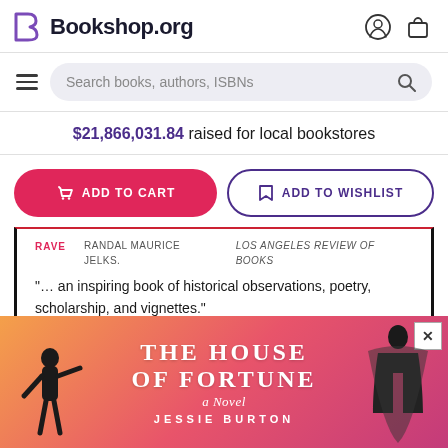Bookshop.org
Search books, authors, ISBNs
$21,866,031.84 raised for local bookstores
ADD TO CART
ADD TO WISHLIST
RAVE  RANDAL MAURICE JELKS.  LOS ANGELES REVIEW OF BOOKS
"... an inspiring book of historical observations, poetry, scholarship, and vignettes."
[Figure (illustration): Book advertisement overlay for 'The House of Fortune: A Novel' by Jessie Burton, with gradient pink-orange background and silhouette figures on left and right]
THE HOUSE OF FORTUNE